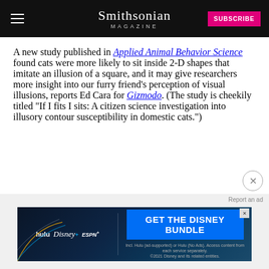Smithsonian MAGAZINE
A new study published in Applied Animal Behavior Science found cats were more likely to sit inside 2-D shapes that imitate an illusion of a square, and it may give researchers more insight into our furry friend’s perception of visual illusions, reports Ed Cara for Gizmodo. (The study is cheekily titled “If I fits I sits: A citizen science investigation into illusory contour susceptibility in domestic cats.”)
[Figure (other): Advertisement banner for the Disney Bundle featuring Hulu, Disney+, and ESPN+ logos with button reading GET THE DISNEY BUNDLE]